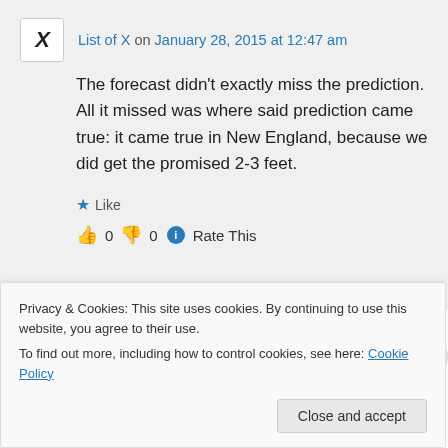List of X on January 28, 2015 at 12:47 am
The forecast didn't exactly miss the prediction. All it missed was where said prediction came true: it came true in New England, because we did get the promised 2-3 feet.
Like
👍 0 👎 0 ℹ Rate This
Privacy & Cookies: This site uses cookies. By continuing to use this website, you agree to their use.
To find out more, including how to control cookies, see here: Cookie Policy
Close and accept